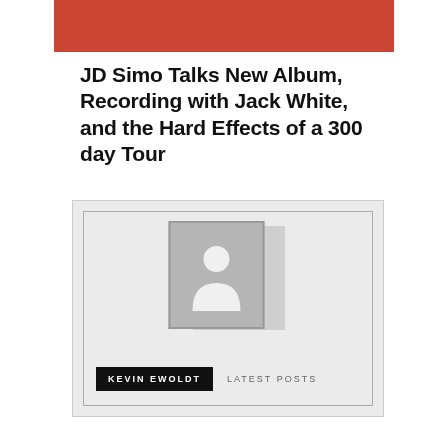[Figure (other): Red decorative bar at top of page]
JD Simo Talks New Album, Recording with Jack White, and the Hard Effects of a 300 day Tour
[Figure (other): Author card with placeholder avatar silhouette, author name 'KEVIN EWOLDT' in black button, and 'LATEST POSTS' text link]
KEVIN EWOLDT
LATEST POSTS